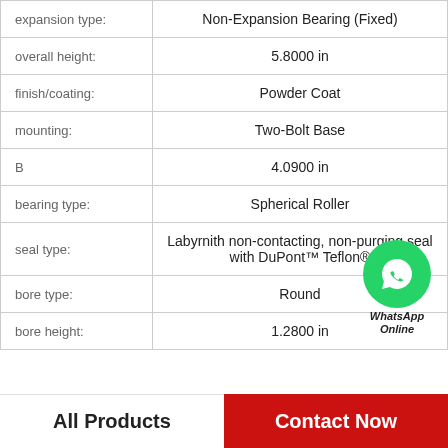| Property | Value |
| --- | --- |
| expansion type: | Non-Expansion Bearing (Fixed) |
| overall height: | 5.8000 in |
| finish/coating: | Powder Coat |
| mounting: | Two-Bolt Base |
| B | 4.0900 in |
| bearing type: | Spherical Roller |
| seal type: | Labyrnith non-contacting, non-purging seal with DuPont™ Teflon® |
| bore type: | Round |
| bore height: | 1.2800 in |
[Figure (logo): WhatsApp Online green phone bubble logo with text 'WhatsApp Online']
All Products    Contact Now